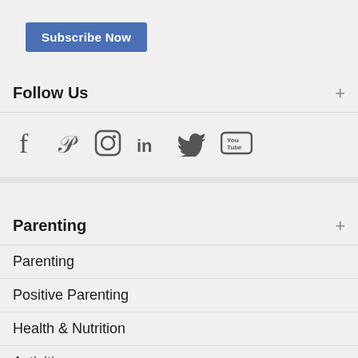Subscribe Now
Follow Us
[Figure (infographic): Social media icons: Facebook, Pinterest, Instagram, LinkedIn, Twitter, YouTube]
Parenting
Parenting
Positive Parenting
Health & Nutrition
Activities
Worksheets For Kids